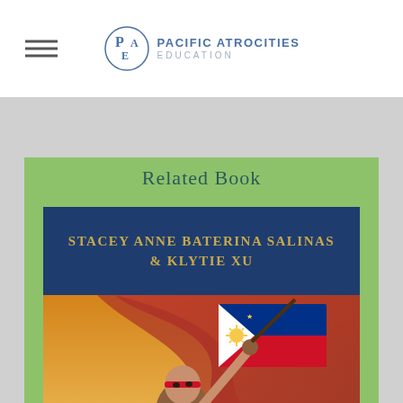Pacific Atrocities Education
Related Book
[Figure (illustration): Book cover for a title by Stacey Anne Baterina Salinas & Klytie Xu, featuring a figure holding a Philippine flag in a dramatic painted illustration style, with blue author band on top and green border.]